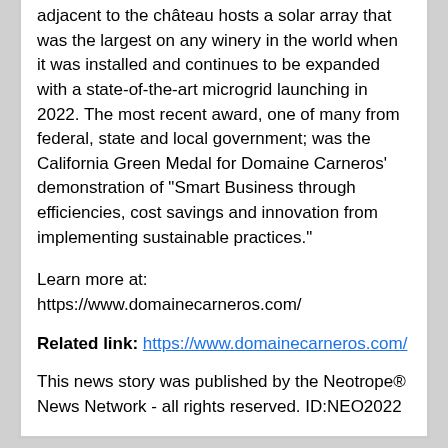adjacent to the château hosts a solar array that was the largest on any winery in the world when it was installed and continues to be expanded with a state-of-the-art microgrid launching in 2022. The most recent award, one of many from federal, state and local government; was the California Green Medal for Domaine Carneros' demonstration of "Smart Business through efficiencies, cost savings and innovation from implementing sustainable practices."
Learn more at: https://www.domainecarneros.com/
Related link: https://www.domainecarneros.com/
This news story was published by the Neotrope® News Network - all rights reserved. ID:NEO2022
Here's the Scoop! Humphry Slocombe and Domaine Carneros